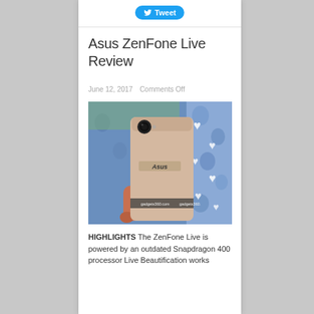[Figure (logo): Twitter Tweet button, blue rounded pill shape with bird icon and 'Tweet' text]
Asus ZenFone Live Review
June 12, 2017   Comments Off
[Figure (photo): Back of Asus ZenFone Live smartphone being held in hand against a blue fabric background with white heart patterns. The phone has a gold/rose gold finish with the Asus logo and a circular camera lens visible.]
HIGHLIGHTS The ZenFone Live is powered by an outdated Snapdragon 400 processor Live Beautification works